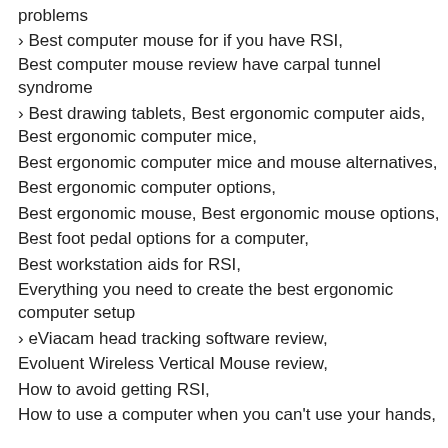problems
› Best computer mouse for if you have RSI, Best computer mouse review have carpal tunnel syndrome
› Best drawing tablets, Best ergonomic computer aids, Best ergonomic computer mice,
Best ergonomic computer mice and mouse alternatives,
Best ergonomic computer options,
Best ergonomic mouse, Best ergonomic mouse options,
Best foot pedal options for a computer,
Best workstation aids for RSI,
Everything you need to create the best ergonomic computer setup
› eViacam head tracking software review,
Evoluent Wireless Vertical Mouse review,
How to avoid getting RSI,
How to use a computer when you can't use your hands,